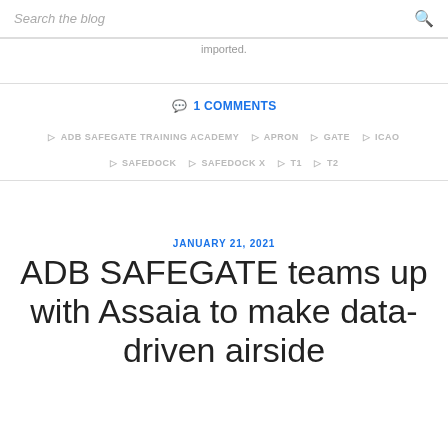Search the blog
imported.
1 COMMENTS
ADB SAFEGATE TRAINING ACADEMY  APRON  GATE  ICAO  SAFEDOCK  SAFEDOCK X  T1  T2
JANUARY 21, 2021
ADB SAFEGATE teams up with Assaia to make data-driven airside